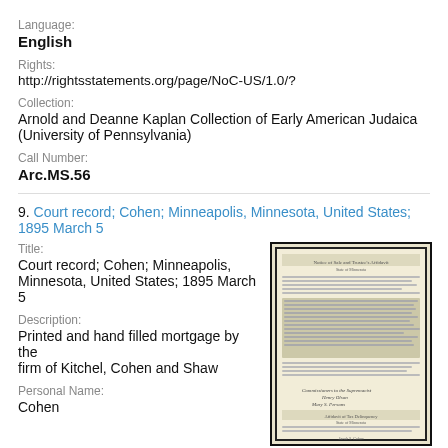Language:
English
Rights:
http://rightsstatements.org/page/NoC-US/1.0/?
Collection:
Arnold and Deanne Kaplan Collection of Early American Judaica (University of Pennsylvania)
Call Number:
Arc.MS.56
9. Court record; Cohen; Minneapolis, Minnesota, United States; 1895 March 5
Title:
Court record; Cohen; Minneapolis, Minnesota, United States; 1895 March 5
Description:
Printed and hand filled mortgage by the firm of Kitchel, Cohen and Shaw
Personal Name:
Cohen
[Figure (photo): Scanned image of a historical court record document, showing printed and handwritten text on aged paper, with a dark border frame.]